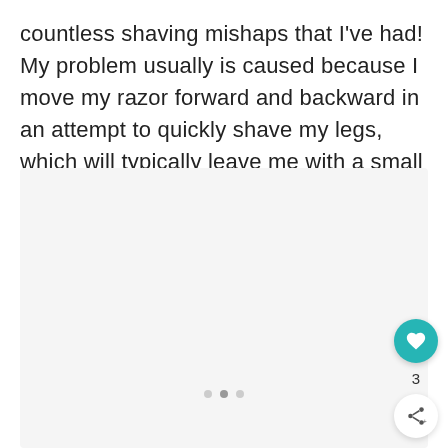countless shaving mishaps that I've had! My problem usually is caused because I move my razor forward and backward in an attempt to quickly shave my legs, which will typically leave me with a small wound or two.
[Figure (photo): A light gray placeholder image area with three pagination dots at the bottom center, indicating an image carousel or gallery.]